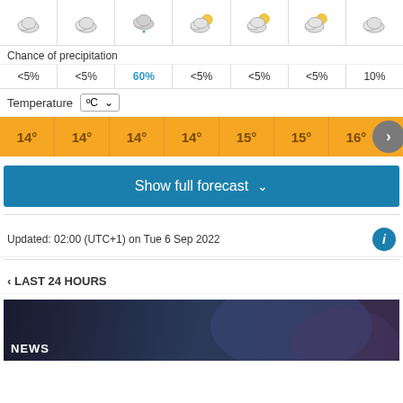[Figure (infographic): Row of weather icons: cloudy, cloudy, cloud with rain, partly cloudy, partly sunny, partly sunny, cloudy]
Chance of precipitation
| <5% | <5% | 60% | <5% | <5% | <5% | 10% |
Temperature °C ▾
| 14° | 14° | 14° | 14° | 15° | 15° | 16° |
Show full forecast ✓
Updated: 02:00 (UTC+1) on Tue 6 Sep 2022
< LAST 24 HOURS
[Figure (photo): Dark blue toned photo with NEWS label at bottom left]